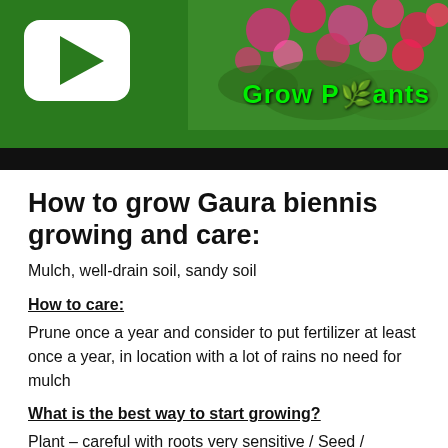[Figure (screenshot): YouTube-style video thumbnail with green background, white play button icon on left, pink flowers on right, and 'Grow Plants' text in green on the right side]
How to grow Gaura biennis growing and care:
Mulch, well-drain soil, sandy soil
How to care:
Prune once a year and consider to put fertilizer at least once a year, in location with a lot of rains no need for mulch
What is the best way to start growing?
Plant – careful with roots very sensitive / Seed /